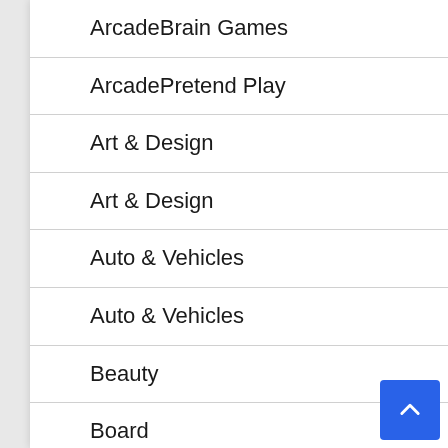ArcadeBrain Games
ArcadePretend Play
Art & Design
Art & Design
Auto & Vehicles
Auto & Vehicles
Beauty
Board
Board